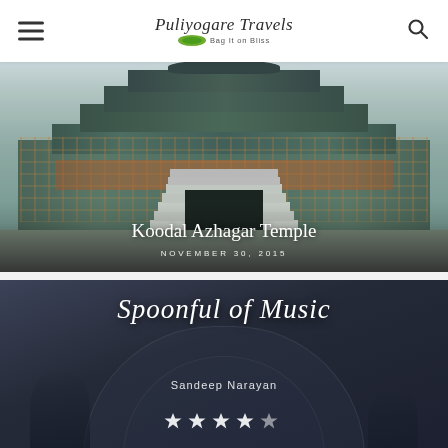Puliyogare Travels - Bag It on Bliss
[Figure (photo): Koodal Azhagar Temple gopuram with ornate colorful sculptures and statues on tiered tower, with staircase in foreground]
Koodal Azhagar Temple
NOVEMBER 30, 2015
[Figure (photo): Dark atmospheric image with 'Spoonful of Music' script text overlay, attributed to Sandeep Narayan, with star rating below]